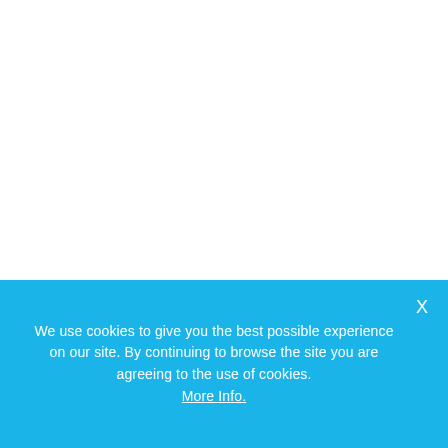We use cookies to give you the best possible experience on our site. By continuing to browse the site you are agreeing to the use of cookies. More Info.